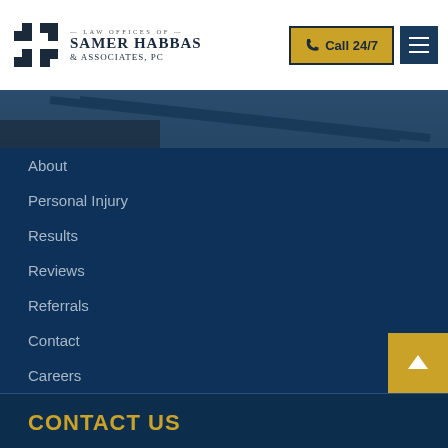Law Offices of Samer Habbas & Associates, PC — Call 24/7
[Figure (photo): Dark photo strip of railroad tracks or similar industrial scene]
About
Personal Injury
Results
Reviews
Referrals
Contact
Careers
CONTACT US